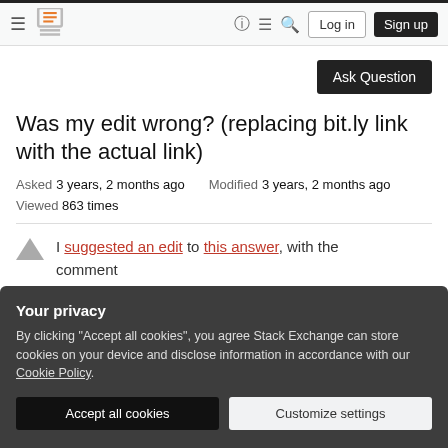Stack Exchange — Log in | Sign up
Ask Question
Was my edit wrong? (replacing bit.ly link with the actual link)
Asked 3 years, 2 months ago    Modified 3 years, 2 months ago
Viewed 863 times
I suggested an edit to this answer, with the comment
Your privacy
By clicking "Accept all cookies", you agree Stack Exchange can store cookies on your device and disclose information in accordance with our Cookie Policy.
Accept all cookies   Customize settings